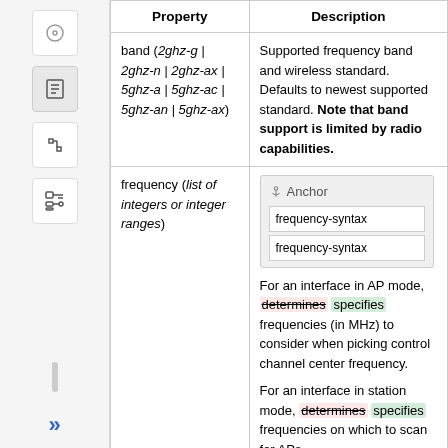| Property | Description |
| --- | --- |
| band (2ghz-g | 2ghz-n | 2ghz-ax | 5ghz-a | 5ghz-ac | 5ghz-an | 5ghz-ax) | Supported frequency band and wireless standard. Defaults to newest supported standard. Note that band support is limited by radio capabilities. |
| frequency (list of integers or integer ranges) | For an interface in AP mode, determines [strikethrough] specifies [green] frequencies (in MHz) to consider when picking control channel center frequency.

For an interface in station mode, determines [strikethrough] specifies [green] frequencies on which to scan for APs. |